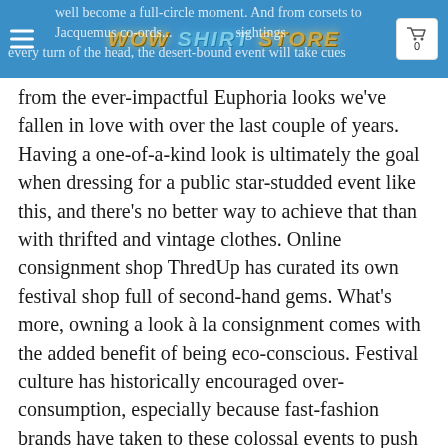WOW SHIRT STORE — well become a full-circle moment. And from corsets to Jacquemus co-ords...sightings every turn of the head, the desert-bound event will take cues
from the ever-impactful Euphoria looks we've fallen in love with over the last couple of years. Having a one-of-a-kind look is ultimately the goal when dressing for a public star-studded event like this, and there's no better way to achieve that than with thrifted and vintage clothes. Online consignment shop ThredUp has curated its own festival shop full of second-hand gems. What's more, owning a look à la consignment comes with the added benefit of being eco-conscious. Festival culture has historically encouraged over-consumption, especially because fast-fashion brands have taken to these colossal events to push sales. According to a Censuswide study looking at UK shopping habits alone, about 7.5 million outfits each year are considered single-use—their only purpose being to attend a music festival. Being intentional with clothing is an over-radar for Coachella 2023